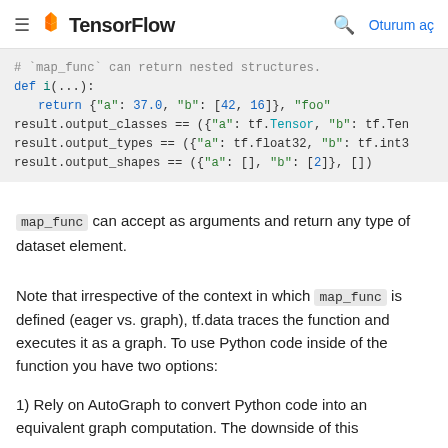TensorFlow — Oturum aç
[Figure (screenshot): Code block showing map_func returning nested structures with result.output_classes, result.output_types, result.output_shapes]
map_func can accept as arguments and return any type of dataset element.
Note that irrespective of the context in which map_func is defined (eager vs. graph), tf.data traces the function and executes it as a graph. To use Python code inside of the function you have two options:
1) Rely on AutoGraph to convert Python code into an equivalent graph computation. The downside of this